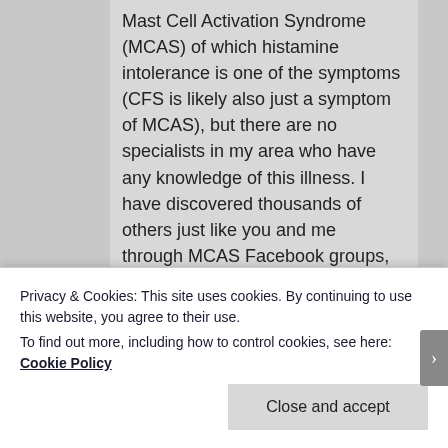Mast Cell Activation Syndrome (MCAS) of which histamine intolerance is one of the symptoms (CFS is likely also just a symptom of MCAS), but there are no specialists in my area who have any knowledge of this illness. I have discovered thousands of others just like you and me through MCAS Facebook groups, so we are not alone. But it has only been in the medical literature for 7 years, and most doctors have never heard of it. I strongly believe that glyphosate (Round Up) is one of the major causes based on everything I have read. Most
Privacy & Cookies: This site uses cookies. By continuing to use this website, you agree to their use.
To find out more, including how to control cookies, see here: Cookie Policy